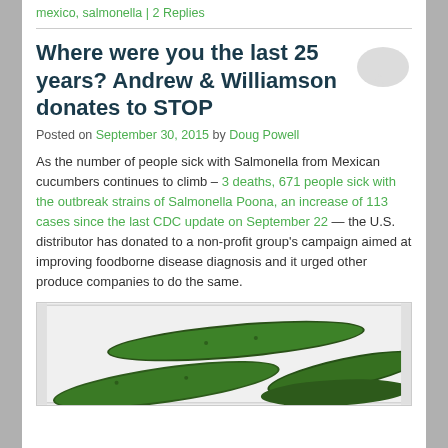mexico, salmonella | 2 Replies
Where were you the last 25 years? Andrew & Williamson donates to STOP
Posted on September 30, 2015 by Doug Powell
As the number of people sick with Salmonella from Mexican cucumbers continues to climb – 3 deaths, 671 people sick with the outbreak strains of Salmonella Poona, an increase of 113 cases since the last CDC update on September 22 — the U.S. distributor has donated to a non-profit group's campaign aimed at improving foodborne disease diagnosis and it urged other produce companies to do the same.
[Figure (photo): Photo of dark green cucumbers in a white container/box]